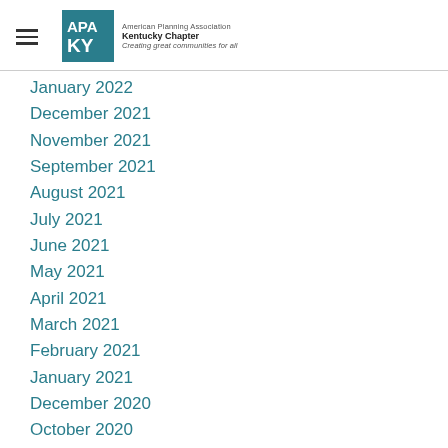APA Kentucky Chapter — American Planning Association — Creating great communities for all
January 2022
December 2021
November 2021
September 2021
August 2021
July 2021
June 2021
May 2021
April 2021
March 2021
February 2021
January 2021
December 2020
October 2020
September 2020
August 2020
July 2020